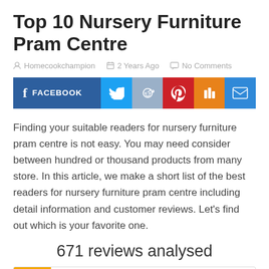Top 10 Nursery Furniture Pram Centre
Homecookchampion   2 Years Ago   No Comments
[Figure (infographic): Social share buttons row: Facebook (dark blue, wide), Twitter (light blue), Reddit (slate blue), Pinterest (red), Mix (orange), Email (blue)]
Finding your suitable readers for nursery furniture pram centre is not easy. You may need consider between hundred or thousand products from many store. In this article, we make a short list of the best readers for nursery furniture pram centre including detail information and customer reviews. Let's find out which is your favorite one.
671 reviews analysed
[Figure (other): Bottom of a product card showing a gold VALUE badge in the top-left corner and a teal circular icon in the center-top area]